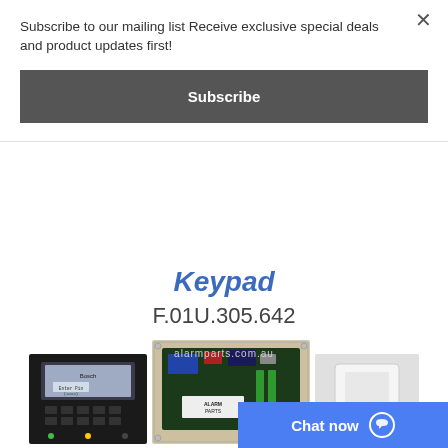Subscribe to our mailing list Receive exclusive special deals and product updates first!
Subscribe
×
Keypad
F.01U.305.642
[Figure (photo): Three product images: a Bosch keypad device (black), an open alarm control panel circuit board in metal enclosure, and a white plastic sensor/device housing]
Chat now